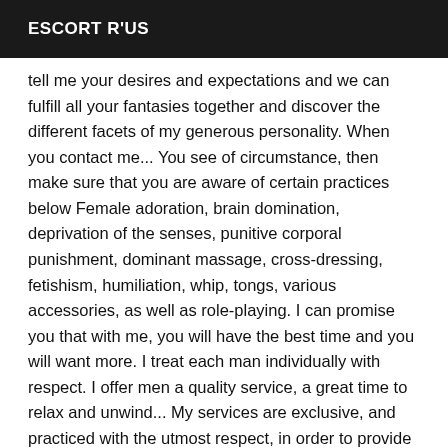ESCORT R'US
tell me your desires and expectations and we can fulfill all your fantasies together and discover the different facets of my generous personality. When you contact me... You see of circumstance, then make sure that you are aware of certain practices below Female adoration, brain domination, deprivation of the senses, punitive corporal punishment, dominant massage, cross-dressing, fetishism, humiliation, whip, tongs, various accessories, as well as role-playing. I can promise you that with me, you will have the best time and you will want more. I treat each man individually with respect. I offer men a quality service, a great time to relax and unwind... My services are exclusive, and practiced with the utmost respect, in order to provide you with great moments of absolute relaxation and to enjoy one of my delicious massages in a serene way... Close your eyes and trust me!!! Give yourself a break out of time, a moment for yourself, to forget the daily routine and find a